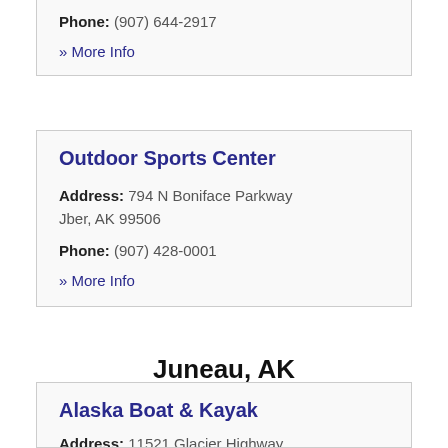Phone: (907) 644-2917
» More Info
Outdoor Sports Center
Address: 794 N Boniface Parkway Jber, AK 99506
Phone: (907) 428-0001
» More Info
Juneau, AK
Alaska Boat & Kayak
Address: 11521 Glacier Highway